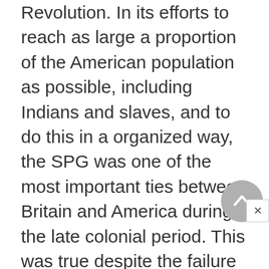Revolution. In its efforts to reach as large a proportion of the American population as possible, including Indians and slaves, and to do this in a organized way, the SPG was one of the most important ties between Britain and America during the late colonial period. This was true despite the failure of these missions as religious ventures. Relatively few Americans were drawn to Anglicanism and some, especially in the Puritan Northern colonies, were hostile to the